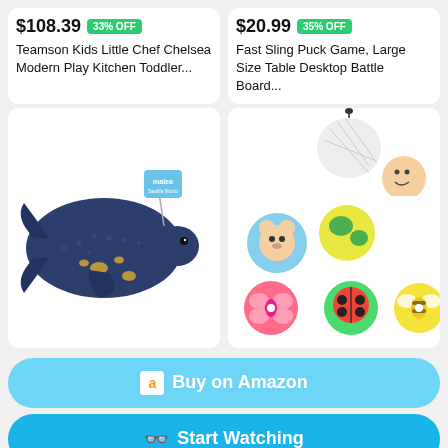$108.39  33% OFF
Teamson Kids Little Chef Chelsea Modern Play Kitchen Toddler...
$20.99  35% OFF
Fast Sling Puck Game, Large Size Table Desktop Battle Board...
[Figure (photo): Dark blue whale/right whale toy figurine with gold barnacle spots and a small tag labeled 'malea Sealife World']
[Figure (photo): Baby toy set: colorful fabric balls in mesh bag, spinning top toys with bug designs, and a baby crawling in the background]
Buy on Amazon
Start Watching